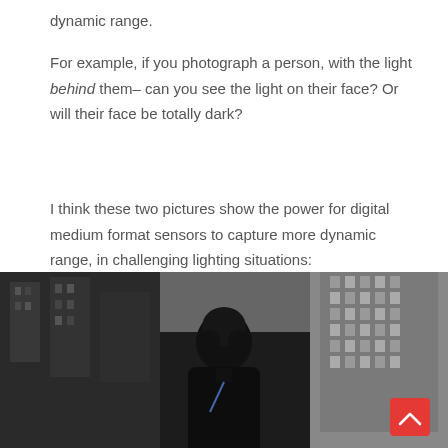dynamic range.
For example, if you photograph a person, with the light behind them– can you see the light on their face? Or will their face be totally dark?
I think these two pictures show the power for digital medium format sensors to capture more dynamic range, in challenging lighting situations:
[Figure (photo): A dark, underexposed street photograph showing the silhouette of a person with backlit urban environment. Buildings visible on left and right sides. A red scroll-up button appears in lower right corner.]